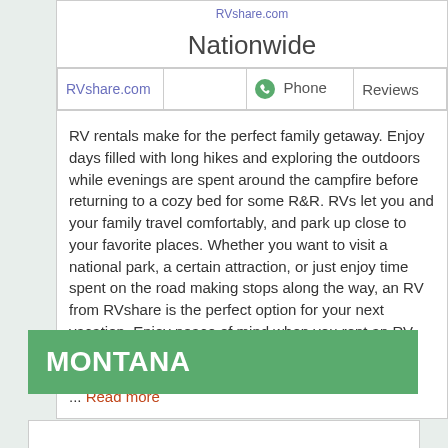RVshare.com
Nationwide
| RVshare.com |  | Phone | Reviews |
| --- | --- | --- | --- |
|  |
RV rentals make for the perfect family getaway. Enjoy days filled with long hikes and exploring the outdoors while evenings are spent around the campfire before returning to a cozy bed for some R&R. RVs let you and your family travel comfortably, and park up close to your favorite places. Whether you want to visit a national park, a certain attraction, or just enjoy time spent on the road making stops along the way, an RV from RVshare is the perfect option for your next vacation. Enjoy peace of mind when you rent an RV from RVshare with insurance, 24/7 roadside assistance, and our wo ... Read more
MONTANA